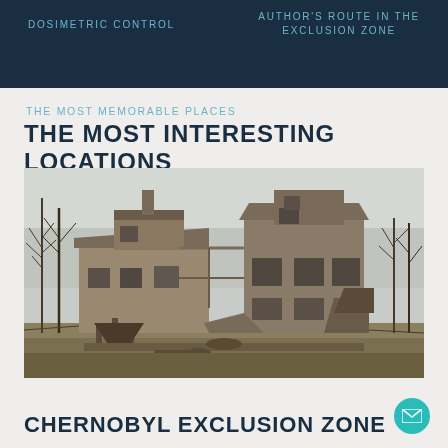DOSIMETRIC CONTROL
AUTHOR'S ROUTE IN THE EXCLUSION ZONE
THE MOST MEMORABLE PLACES
THE MOST INTERESTING LOCATIONS
[Figure (photo): Photograph of an abandoned ruined industrial or farm building complex in Chernobyl exclusion zone, with bare trees and cloudy sky in the background]
CHERNOBYL EXCLUSION ZONE